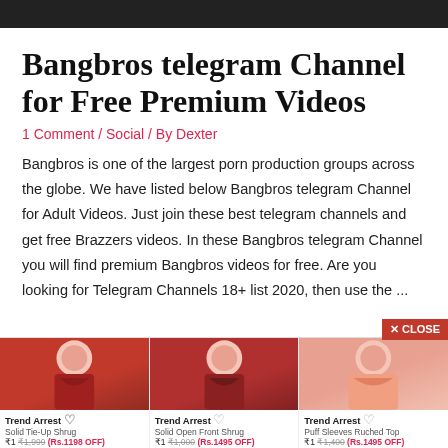Bangbros telegram Channel for Free Premium Videos
1 Comment / Social / By Dexter
Bangbros is one of the largest porn production groups across the globe. We have listed below Bangbros telegram Channel for Adult Videos. Just join these best telegram channels and get free Brazzers videos. In these Bangbros telegram Channel you will find premium Bangbros videos for free. Are you looking for Telegram Channels 18+ list 2020, then use the ...
[Figure (photo): Advertisement showing three women modeling clothing from Trend Arrest brand, with product names and prices. Items include Solid Tie-Up Shrug (₹1, Rs.1198 OFF), Solid Open Front Shrug (₹1, Rs.1495 OFF), and Puff Sleeves Ruched Top (₹1, Rs.1495 OFF).]